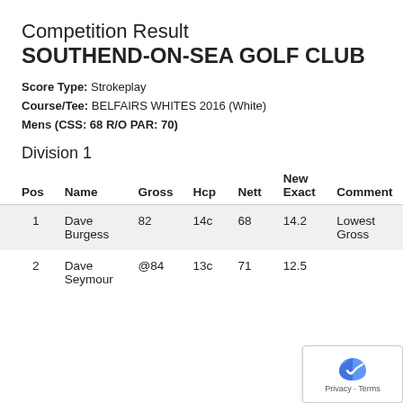Competition Result SOUTHEND-ON-SEA GOLF CLUB
Score Type: Strokeplay
Course/Tee: BELFAIRS WHITES 2016 (White)
Mens (CSS: 68 R/O PAR: 70)
Division 1
| Pos | Name | Gross | Hcp | Nett | New Exact | Comment |
| --- | --- | --- | --- | --- | --- | --- |
| 1 | Dave Burgess | 82 | 14c | 68 | 14.2 | Lowest Gross |
| 2 | Dave Seymour | @84 | 13c | 71 | 12.5 |  |